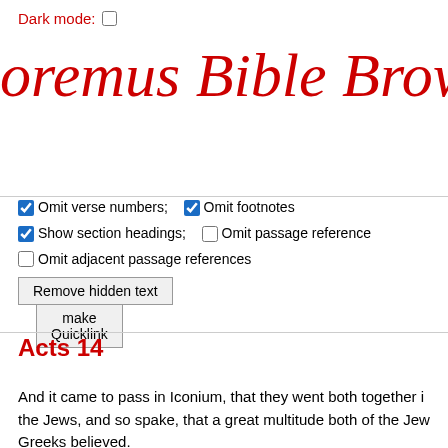Dark mode: ☐
oremus Bible Brow
make Quicklink
☑ Omit verse numbers;  ☑ Omit footnotes
☑ Show section headings;  ☐ Omit passage reference
☐ Omit adjacent passage references
Remove hidden text
Acts 14
And it came to pass in Iconium, that they went both together i... the Jews, and so spake, that a great multitude both of the Jew... Greeks believed.
But the unbelieving Jews stirred up the Gentiles, and made the